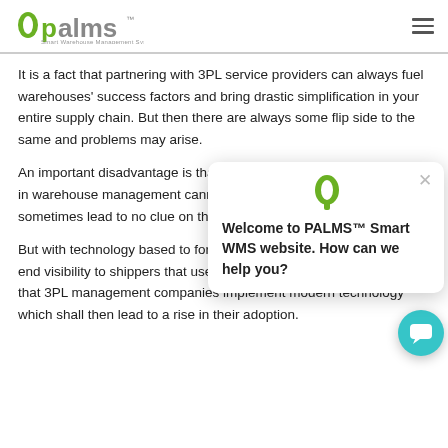palms™ Smart Warehouse Management System
It is a fact that partnering with 3PL service providers can always fuel warehouses' success factors and bring drastic simplification in your entire supply chain. But then there are always some flip side to the same and problems may arise.
An important disadvantage is that direct control over the processes in warehouse management cannot be held. This lack of control can sometimes lead to [occluded] to no clue on the way that a w[occluded]
But with technology based to [occluded] for 3PL companies to provide end to end visibility to shippers that use their services. Hence it is very key that 3PL management companies implement modern technology which shall then lead to a rise in their adoption.
[Figure (other): Chat widget popup with PALMS logo icon, close (X) button, and message: Welcome to PALMS™ Smart WMS website. How can we help you?]
[Figure (other): Teal circular chat button at bottom right corner]